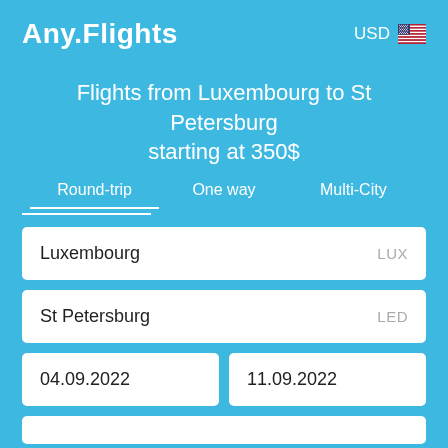Any.Flights   USD 🇺🇸
Flights from Luxembourg to St Petersburg starting at 350$
Round-trip   One way   Multi-City
Luxembourg   LUX
St Petersburg   LED
04.09.2022
11.09.2022